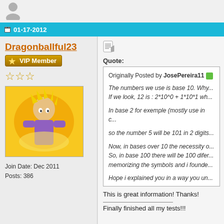[Figure (illustration): Generic user avatar icon (grey silhouette)]
01-17-2012
Dragonballful23
VIP Member
[Figure (illustration): Avatar image showing a Dragon Ball Z character with yellow energy background]
Join Date: Dec 2011
Posts: 386
[Figure (illustration): Reply/quote button icon]
Quote:
Originally Posted by JosePereira11
The numbers we use is base 10. Why... If we look, 12 is : 2*10^0 + 1*10*1 wh...

In base 2 for exemple (mostly use in c...

so the number 5 will be 101 in 2 digits...

Now, in bases over 10 the necessity o... So, in base 100 there will be 100 difer... memorizing the symbols and i founde...

Hope i explained you in a way you un...

Ohh, just a curiosity: Why we have ba... hand :)
This is great information! Thanks!
Finally finished all my tests!!!